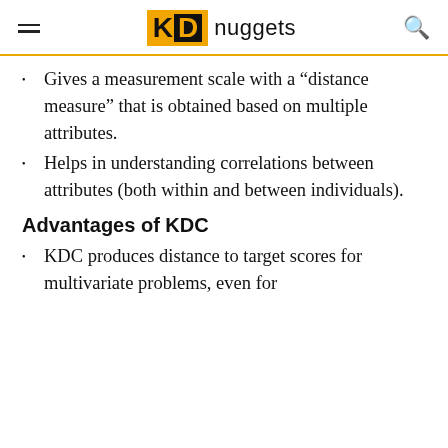KDnuggets
Gives a measurement scale with a “distance measure” that is obtained based on multiple attributes.
Helps in understanding correlations between attributes (both within and between individuals).
Advantages of KDC
KDC produces distance to target scores for multivariate problems, even for